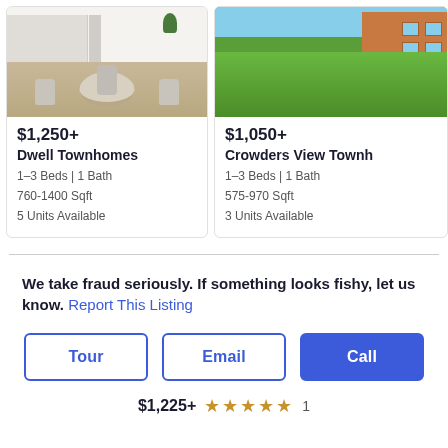[Figure (photo): Interior photo of a dining area with round table, chairs, and hardwood floor]
$1,250+
Dwell Townhomes
1–3 Beds | 1 Bath
760-1400 Sqft
5 Units Available
[Figure (photo): Exterior photo of a brick building with green lawn in front]
$1,050+
Crowders View Townhomes
1–3 Beds | 1 Bath
575-970 Sqft
3 Units Available
We take fraud seriously. If something looks fishy, let us know. Report This Listing
Tour
Email
Call
$1,225+  ★★★★★ 1